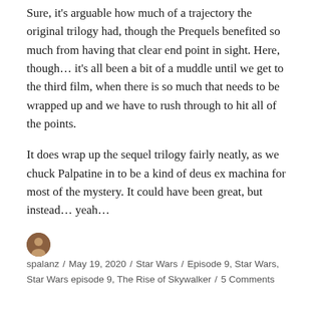Sure, it's arguable how much of a trajectory the original trilogy had, though the Prequels benefited so much from having that clear end point in sight. Here, though… it's all been a bit of a muddle until we get to the third film, when there is so much that needs to be wrapped up and we have to rush through to hit all of the points.
It does wrap up the sequel trilogy fairly neatly, as we chuck Palpatine in to be a kind of deus ex machina for most of the mystery. It could have been great, but instead… yeah…
spalanz / May 19, 2020 / Star Wars / Episode 9, Star Wars, Star Wars episode 9, The Rise of Skywalker / 5 Comments